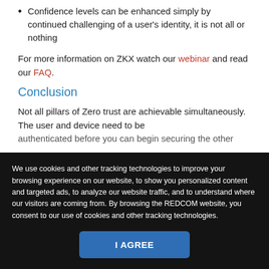Confidence levels can be enhanced simply by continued challenging of a user's identity, it is not all or nothing
For more information on ZKX watch our webinar and read our FAQ.
Conclusion
Not all pillars of Zero trust are achievable simultaneously. The user and device need to be authenticated before you can begin securing the other
We use cookies and other tracking technologies to improve your browsing experience on our website, to show you personalized content and targeted ads, to analyze our website traffic, and to understand where our visitors are coming from. By browsing the REDCOM website, you consent to our use of cookies and other tracking technologies.